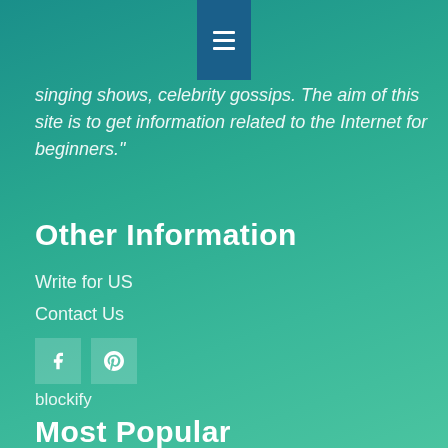singing shows, celebrity gossips. The aim of this site is to get information related to the Internet for beginners."
Other Information
Write for US
Contact Us
[Figure (other): Social media icons: Facebook (f) and Pinterest (p) in semi-transparent square buttons]
blockify
Most Popular